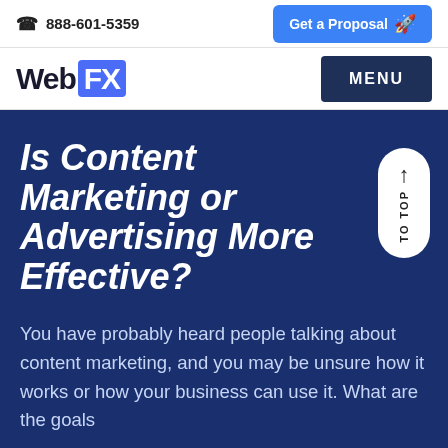888-601-5359
Get a Proposal
WebFX  MENU
Is Content Marketing or Advertising More Effective?
You have probably heard people talking about content marketing, and you may be unsure how it works or how your business can use it. What are the goals